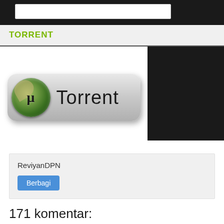[Figure (screenshot): Top black navigation bar with white input field]
TORRENT
[Figure (illustration): White box containing a styled Torrent download button with uTorrent green coin icon and text 'Torrent', on black background]
ReviyanDPN
Berbagi
171 komentar: